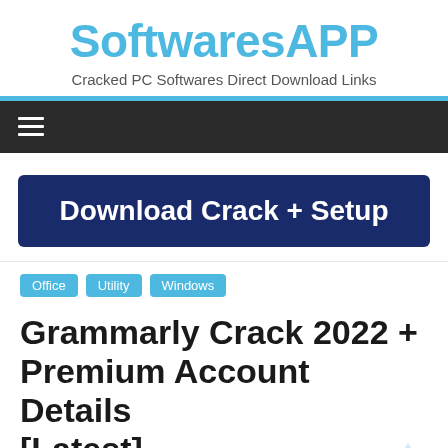SoftwaresAPP
Cracked PC Softwares Direct Download Links
[Figure (screenshot): Navigation bar with hamburger menu icon on dark background]
[Figure (screenshot): Dark blue Download Crack + Setup button]
Office
Utility
Windows
Grammarly Crack 2022 + Premium Account Details [Latest]